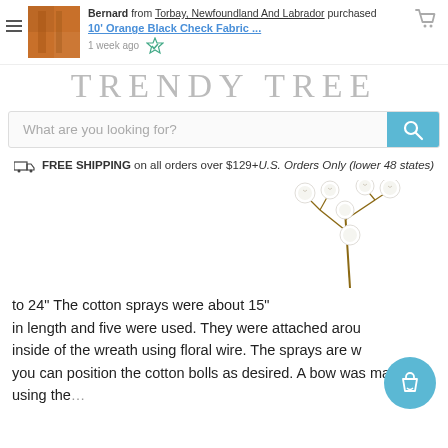Bernard from Torbay, Newfoundland And Labrador purchased 10' Orange Black Check Fabric ... 1 week ago
TRENDY TREE
What are you looking for?
FREE SHIPPING on all orders over $129+U.S. Orders Only (lower 48 states)
[Figure (photo): Cotton spray branch with white cotton bolls on stems, product photo]
to 24" The cotton sprays were about 15" in length and five were used. They were attached around the inside of the wreath using floral wire. The sprays are w... you can position the cotton bolls as desired. A bow was made using the...